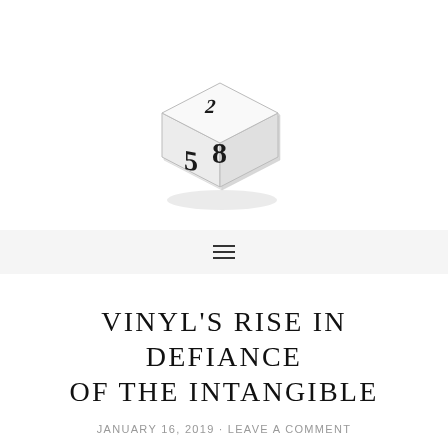[Figure (photo): A white 10-sided die (D10) tilted at an angle showing faces with numbers 8, 5, and 2, photographed on a white background with soft shadow.]
VINYL'S RISE IN DEFIANCE OF THE INTANGIBLE
JANUARY 16, 2019 · LEAVE A COMMENT